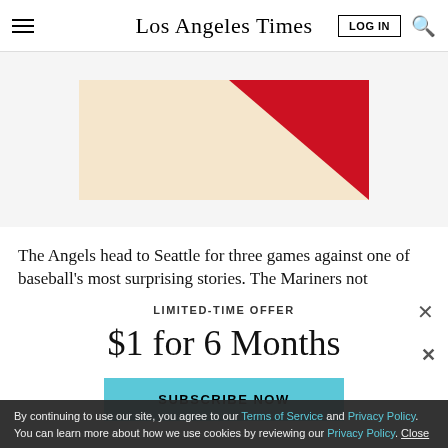Los Angeles Times
[Figure (illustration): Partial advertisement banner with beige/cream background and red diagonal stripe, partially visible at top.]
The Angels head to Seattle for three games against one of baseball's most surprising stories. The Mariners not
LIMITED-TIME OFFER
$1 for 6 Months
SUBSCRIBE NOW
By continuing to use our site, you agree to our Terms of Service and Privacy Policy. You can learn more about how we use cookies by reviewing our Privacy Policy. Close